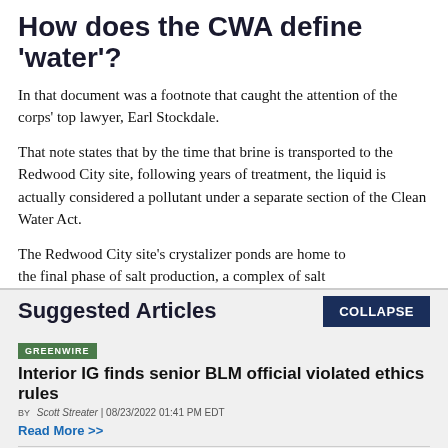How does the CWA define 'water'?
In that document was a footnote that caught the attention of the corps' top lawyer, Earl Stockdale.
That note states that by the time that brine is transported to the Redwood City site, following years of treatment, the liquid is actually considered a pollutant under a separate section of the Clean Water Act.
The Redwood City site's crystalizer ponds are home to the final phase of salt production, a complex of salt
Suggested Articles
GREENWIRE
Interior IG finds senior BLM official violated ethics rules
BY Scott Streater | 08/23/2022 01:41 PM EDT
Read More >>
GREENWIRE
Biden admin eyes funding Canadian mining